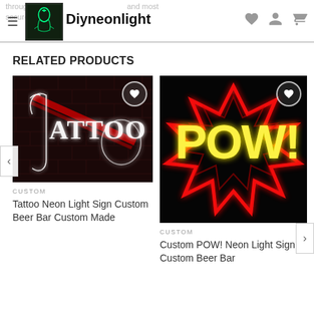through Email for transfer and most secure way to r...
[Figure (logo): Diyneonlight logo: dark background with neon knight/warrior illustration]
Diyneonlight
RELATED PRODUCTS
[Figure (photo): Neon light sign spelling TATTOO in white neon with red diagonal stripe on brick wall background]
CUSTOM
Tattoo Neon Light Sign Custom Beer Bar Custom Made
[Figure (photo): Neon light sign spelling POW! in yellow neon with red jagged burst outline on black background]
CUSTOM
Custom POW! Neon Light Sign Custom Beer Bar